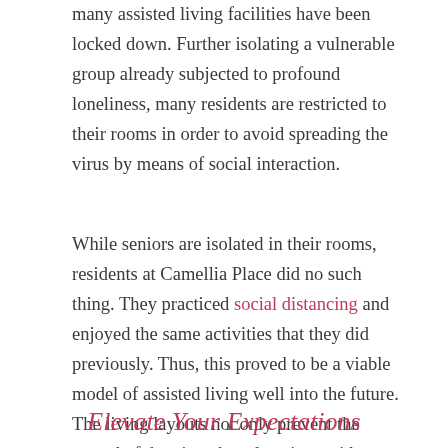many assisted living facilities have been locked down. Further isolating a vulnerable group already subjected to profound loneliness, many residents are restricted to their rooms in order to avoid spreading the virus by means of social interaction.
While seniors are isolated in their rooms, residents at Camellia Place did no such thing. They practiced social distancing and enjoyed the same activities that they did previously. Thus, this proved to be a viable model of assisted living well into the future. The living layouts not only prevent the spread of the virus, but also give residents a healthy and vibrant lifestyle during their senior years.
Elevate Your Expectations